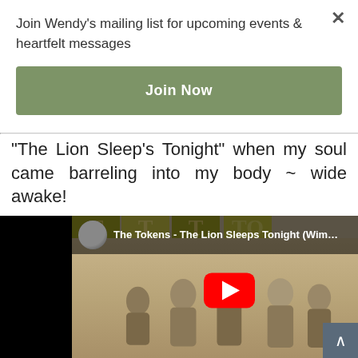Join Wendy's mailing list for upcoming events & heartfelt messages
Join Now
"The Lion Sleep's Tonight" when my soul came barreling into my body ~ wide awake!
[Figure (screenshot): YouTube video thumbnail showing The Tokens - The Lion Sleeps Tonight (Wimoweh) with a sepia-toned band photo and red play button]